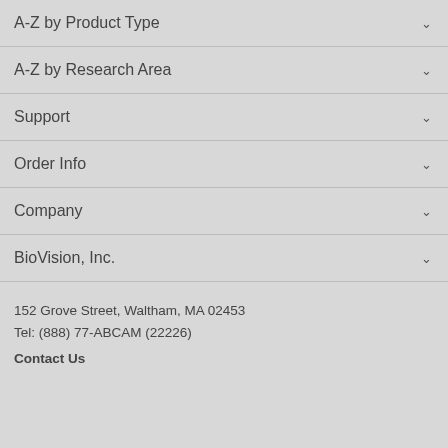A-Z by Product Type
A-Z by Research Area
Support
Order Info
Company
BioVision, Inc.
152 Grove Street, Waltham, MA 02453
Tel: (888) 77-ABCAM (22226)
Contact Us